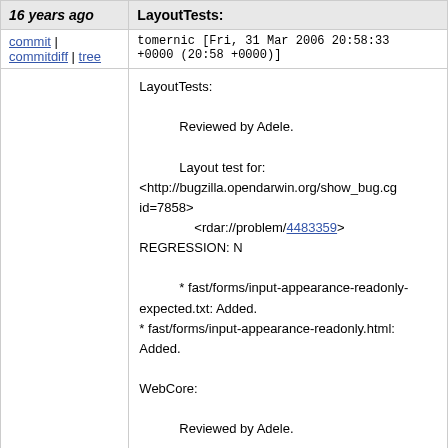16 years ago | LayoutTests:
commit | commitdiff | tree
tomernic [Fri, 31 Mar 2006 20:58:33 +0000 (20:58 +0000)]
LayoutTests:

    Reviewed by Adele.

    Layout test for:
    <http://bugzilla.opendarwin.org/show_bug.cgi?id=7858>
        <rdar://problem/4483359> REGRESSION: N

    * fast/forms/input-appearance-readonly-expected.txt: Added.
        * fast/forms/input-appearance-readonly.html: Added.

WebCore:

    Reviewed by Adele.

    <http://bugzilla.opendarwin.org/show_bug.cgi?id=7858>
        <rdar://problem/4483359> REGRESSION: N

    * rendering/RenderTextField.cpp:
    (WebCore::RenderTextField::createDivStyle):
    Set user-modify based on the form element